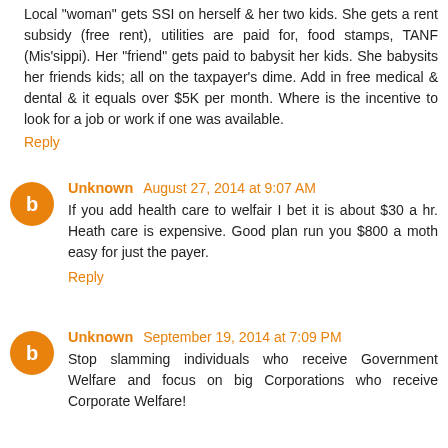Local "woman" gets SSI on herself & her two kids. She gets a rent subsidy (free rent), utilities are paid for, food stamps, TANF (Mis'sippi). Her "friend" gets paid to babysit her kids. She babysits her friends kids; all on the taxpayer's dime. Add in free medical & dental & it equals over $5K per month. Where is the incentive to look for a job or work if one was available.
Reply
Unknown  August 27, 2014 at 9:07 AM
If you add health care to welfair I bet it is about $30 a hr. Heath care is expensive. Good plan run you $800 a moth easy for just the payer.
Reply
Unknown  September 19, 2014 at 7:09 PM
Stop slamming individuals who receive Government Welfare and focus on big Corporations who receive Corporate Welfare!